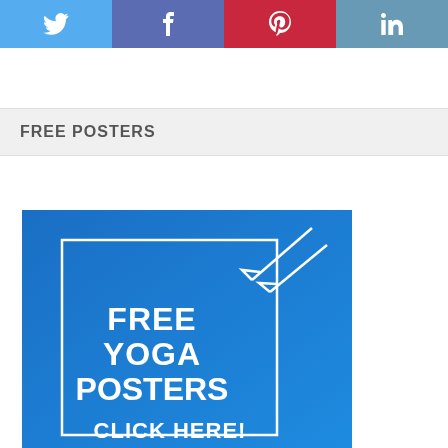[Figure (infographic): Social share buttons row: Twitter (light blue), Facebook (purple-blue), Pinterest (red), LinkedIn (steel blue), each with their respective icons]
FREE POSTERS
[Figure (infographic): Blue promotional banner with white text reading 'FREE YOGA POSTERS CLICK HERE!' with decorative arrow illustrations and a white border rectangle]